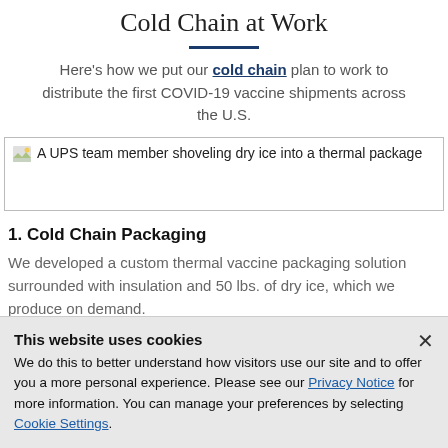Cold Chain at Work
Here's how we put our cold chain plan to work to distribute the first COVID-19 vaccine shipments across the U.S.
[Figure (photo): A UPS team member shoveling dry ice into a thermal package]
1. Cold Chain Packaging
We developed a custom thermal vaccine packaging solution surrounded with insulation and 50 lbs. of dry ice, which we produce on demand.
This website uses cookies
We do this to better understand how visitors use our site and to offer you a more personal experience. Please see our Privacy Notice for more information. You can manage your preferences by selecting Cookie Settings.